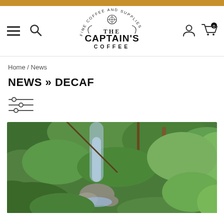The Captain's Coffee — Fine Coffee and Supplies
Home / News
NEWS » DECAF
[Figure (illustration): Filter/sliders icon with three horizontal lines and circular adjusters]
[Figure (photo): Lush green tropical forest with a waterfall cascading over rocks]